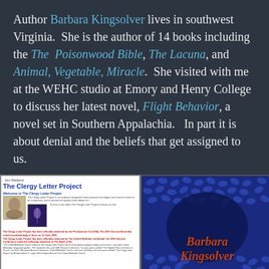Author Barbara Kingsolver lives in southwest Virginia. She is the author of 14 books including the The Poisonwood Bible, The Lacuna, and Animal, Vegetable, Miracle. She visited with me at the WEHC studio at Emory and Henry College to discuss her latest novel, Flight Behavior, a novel set in Southern Appalachia. In part it is about denial and the beliefs that get assigned to us.
[Figure (screenshot): Screenshot of The Clergy Letter Project website showing the project title, welcome text, photos including Darwin, and endorsement text from Presbyterian Church and United Methodist Church.]
[Figure (photo): Book cover of Barbara Kingsolver novel showing her name in orange-red italic script over a dark blue background with a pattern of oval shapes resembling seeds or leaves.]